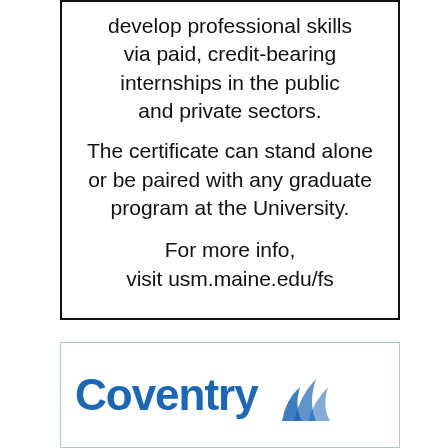develop professional skills via paid, credit-bearing internships in the public and private sectors.
The certificate can stand alone or be paired with any graduate program at the University.
For more info, visit usm.maine.edu/fs
[Figure (logo): Coventry logo with blue text and swoosh graphic]